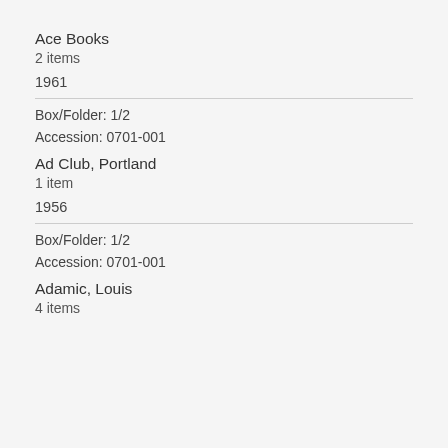Ace Books
2 items
1961
Box/Folder: 1/2
Accession: 0701-001
Ad Club, Portland
1 item
1956
Box/Folder: 1/2
Accession: 0701-001
Adamic, Louis
4 items